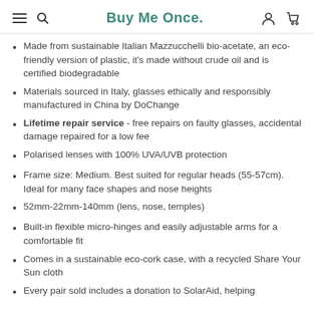Buy Me Once.
Made from sustainable Italian Mazzucchelli bio-acetate, an eco-friendly version of plastic, it's made without crude oil and is certified biodegradable
Materials sourced in Italy, glasses ethically and responsibly manufactured in China by DoChange
Lifetime repair service - free repairs on faulty glasses, accidental damage repaired for a low fee
Polarised lenses with 100% UVA/UVB protection
Frame size: Medium. Best suited for regular heads (55-57cm). Ideal for many face shapes and nose heights
52mm-22mm-140mm (lens, nose, temples)
Built-in flexible micro-hinges and easily adjustable arms for a comfortable fit
Comes in a sustainable eco-cork case, with a recycled Share Your Sun cloth
Every pair sold includes a donation to SolarAid, helping